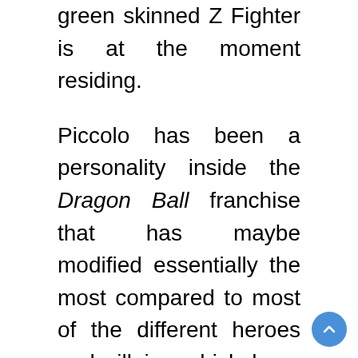green skinned Z Fighter is at the moment residing.
Piccolo has been a personality inside the Dragon Ball franchise that has maybe modified essentially the most compared to most of the different heroes and villains which have appeared over the many years. First showing as an previous Demon King that was in search of to take management of the world and had no drawback eliminating anybody in his manner, the Namekian has since merged along with his older self, Kami, and labored towards defending the Earth because of the optimistic affect of Son Gohan. With advertising materials for Super Hero displaying that Piccolo is about to obtain a brand new transformation, the subsequent film